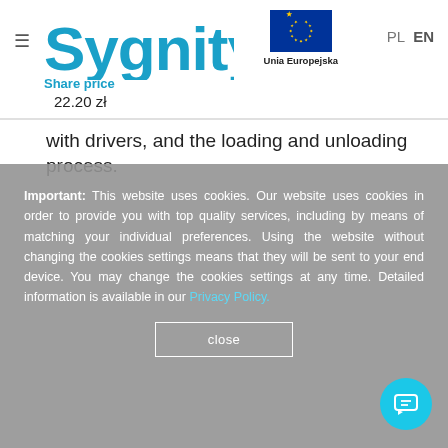[Figure (logo): Sygnity company logo in blue, with EU flag and 'Unia Europejska' label, hamburger menu icon, and PL/EN language switcher]
Share price
22.20 zł
with drivers, and the loading and unloading process.
Important: This website uses cookies. Our website uses cookies in order to provide you with top quality services, including by means of matching your individual preferences. Using the website without changing the cookies settings means that they will be sent to your end device. You may change the cookies settings at any time. Detailed information is available in our Privacy Policy.
close